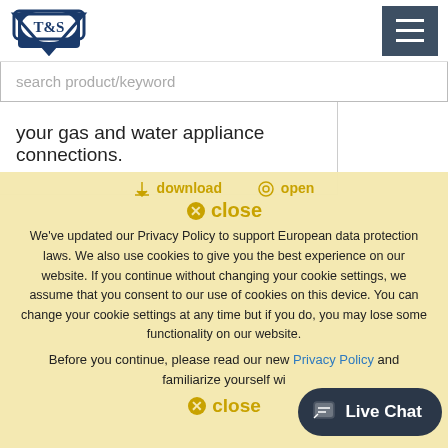[Figure (logo): T&S Brass logo — blue shield/triangle with T&S text]
[Figure (other): Hamburger menu icon button (dark blue/grey background, three white horizontal lines)]
search product/keyword
your gas and water appliance connections.
⬇ download   ⊙ open
⊗ close
We've updated our Privacy Policy to support European data protection laws. We also use cookies to give you the best experience on our website. If you continue without changing your cookie settings, we assume that you consent to our use of cookies on this device. You can change your cookie settings at any time but if you do, you may lose some functionality on our website.
Before you continue, please read our new Privacy Policy and familiarize yourself wi…
⊗ close
🗨 Live Chat